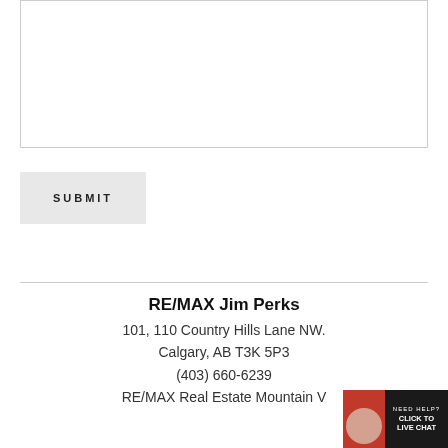[Figure (other): Text area input box (form element), empty white box with border]
SUBMIT
RE/MAX Jim Perks
101, 110 Country Hills Lane NW.
Calgary, AB T3K 5P3
(403) 660-6239
RE/MAX Real Estate Mountain V
[Figure (other): Live chat widget with agent photo and 'NEED HELP? CLICK TO LIVE CHAT' text on dark background]